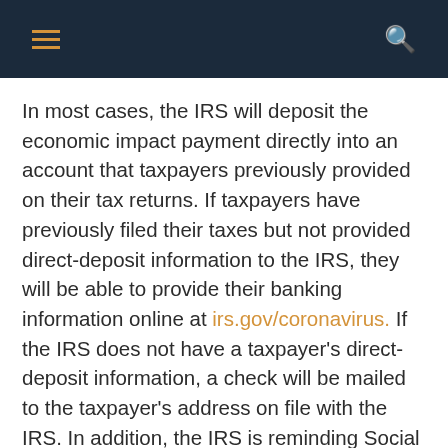[menu icon] [search icon]
In most cases, the IRS will deposit the economic impact payment directly into an account that taxpayers previously provided on their tax returns. If taxpayers have previously filed their taxes but not provided direct-deposit information to the IRS, they will be able to provide their banking information online at irs.gov/coronavirus. If the IRS does not have a taxpayer's direct-deposit information, a check will be mailed to the taxpayer's address on file with the IRS. In addition, the IRS is reminding Social Security recipients who normally don't file taxes that no additional action or information is